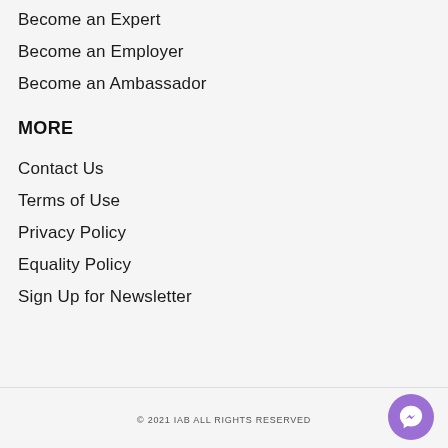Become an Expert
Become an Employer
Become an Ambassador
MORE
Contact Us
Terms of Use
Privacy Policy
Equality Policy
Sign Up for Newsletter
© 2021 IAB ALL RIGHTS RESERVED